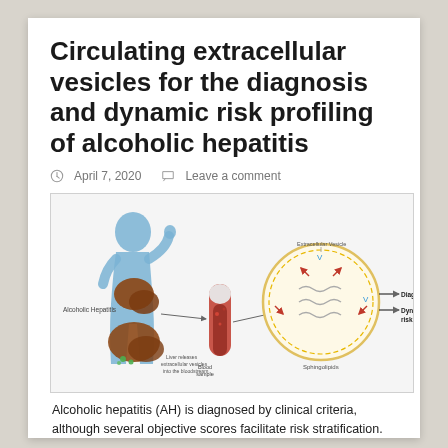Circulating extracellular vesicles for the diagnosis and dynamic risk profiling of alcoholic hepatitis
April 7, 2020   Leave a comment
[Figure (illustration): Medical diagram showing a human silhouette with alcoholic hepatitis highlighted in the liver, an arrow pointing to a blood sample tube, then to an extracellular vesicle (circular diagram with sphingolipids), and arrows pointing to 'Diagnosis' and 'Dynamic risk profiling'. Labels: Alcoholic Hepatitis, Blood sample, Liver releases extracellular vesicles into the bloodstream, Extracellular Vesicle, Sphingolipids, Diagnosis, Dynamic risk profiling.]
Alcoholic hepatitis (AH) is diagnosed by clinical criteria, although several objective scores facilitate risk stratification. Extracellular vesicles (EVs) have